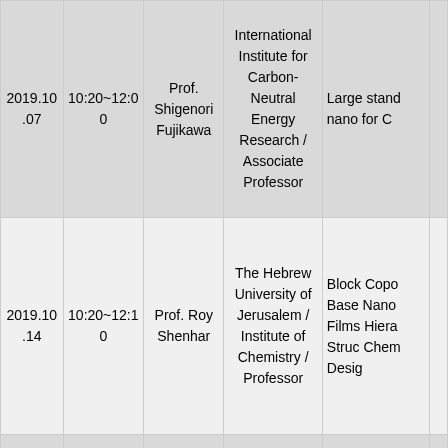| Date | Time | Speaker | Institution / Role | Topic |
| --- | --- | --- | --- | --- |
| 2019.10.07 | 10:20~12:00 | Prof. Shigenori Fujikawa | International Institute for Carbon-Neutral Energy Research / Associate Professor | Large…stand…nano…for C… |
| 2019.10.14 | 10:20~12:10 | Prof. Roy Shenhar | The Hebrew University of Jerusalem / Institute of Chemistry / Professor | Block…Copo…Base…Nano…Films…Hiera…Struc…Chem…Desig… |
|  |  |  | Dept. of Materials | High… |